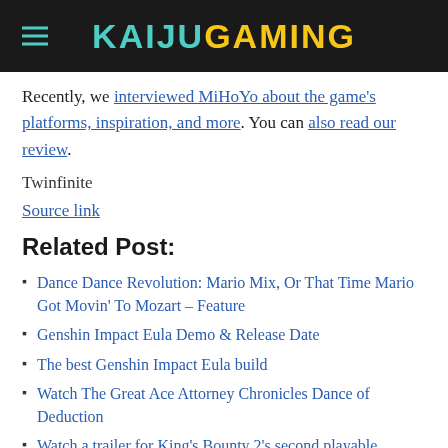KAIJUGAMING
Recently, we interviewed MiHoYo about the game's platforms, inspiration, and more. You can also read our review.
Twinfinite
Source link
Related Post:
Dance Dance Revolution: Mario Mix, Or That Time Mario Got Movin' To Mozart – Feature
Genshin Impact Eula Demo & Release Date
The best Genshin Impact Eula build
Watch The Great Ace Attorney Chronicles Dance of Deduction
Watch a trailer for King's Bounty 2's second playable